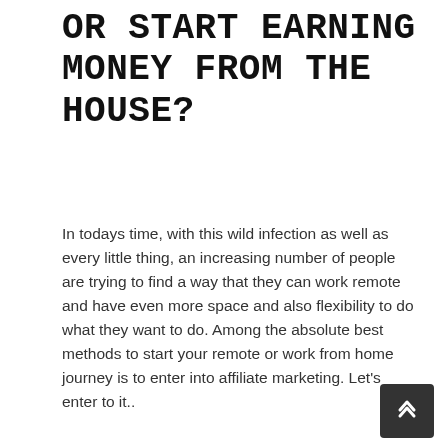OR START EARNING MONEY FROM THE HOUSE?
In todays time, with this wild infection as well as every little thing, an increasing number of people are trying to find a way that they can work remote and have even more space and also flexibility to do what they want to do. Among the absolute best methods to start your remote or work from home journey is to enter into affiliate marketing. Let's enter to it..